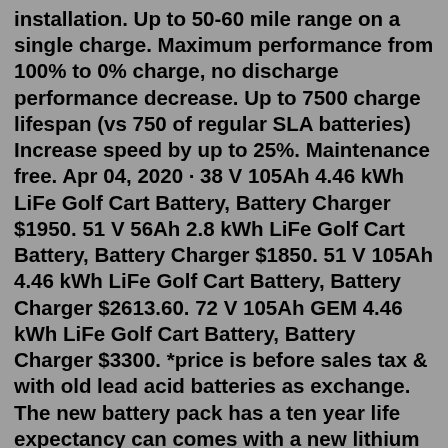installation. Up to 50-60 mile range on a single charge. Maximum performance from 100% to 0% charge, no discharge performance decrease. Up to 7500 charge lifespan (vs 750 of regular SLA batteries) Increase speed by up to 25%. Maintenance free. Apr 04, 2020 · 38 V 105Ah 4.46 kWh LiFe Golf Cart Battery, Battery Charger $1950. 51 V 56Ah 2.8 kWh LiFe Golf Cart Battery, Battery Charger $1850. 51 V 105Ah 4.46 kWh LiFe Golf Cart Battery, Battery Charger $2613.60. 72 V 105Ah GEM 4.46 kWh LiFe Golf Cart Battery, Battery Charger $3300. *price is before sales tax & with old lead acid batteries as exchange. The new battery pack has a ten year life expectancy can comes with a new lithium battery charger. Call today to get prices for 48 volt lithium golf cart battery pack. Call DCB to learn more (619) 448-5323. MFG in USA, Big Battery company is located in Chatsworth, CA. Faster Charge: The Eco Battery EB48V105-CC 105Ah Charges 3X faster than lead acid systems. No memory effect, so you can charge partially or fully at any time. 2-hour recharge